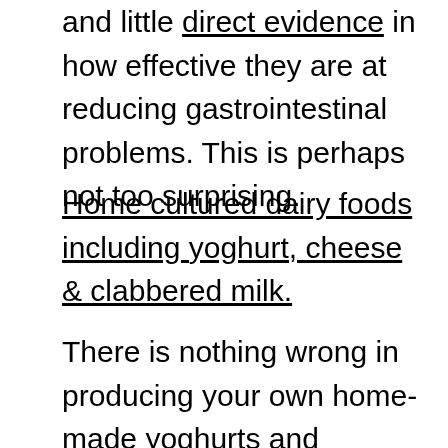and little direct evidence in how effective they are at reducing gastrointestinal problems. This is perhaps not too surprising.
Home cultured dairy foods including yoghurt, cheese & clabbered milk.
There is nothing wrong in producing your own home-made yoghurts and cheeses, should you wish to. Kits are available on the internet and you may also wish to go on training courses, or review books to get started (will probably help to avoid costly mistakes!) Milk, if left un-refrigerated will sour, some types of milk will take longer to do this depending on the amount of bacteria they contain and the processes they have been exposed too, UHT milk contains very limited numbers of bacteria due to its heat treatment, so it will take longer